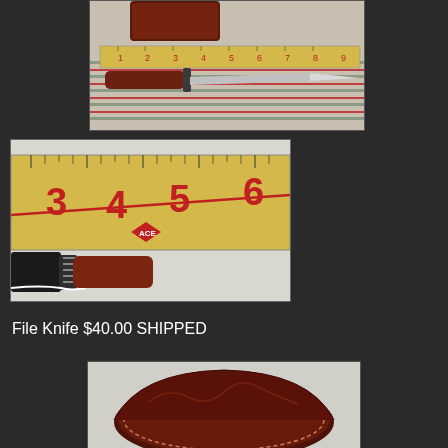[Figure (photo): Top photo showing a handmade knife with wooden handle lying on a striped cloth next to a ruler showing measurements up to about 9 inches. A leather sheath is visible at top.]
[Figure (photo): Close-up photo of a ruler (ACE brand) showing measurements from about 2 to 6 inches, with the handle/guard area of a knife visible below the ruler on a white cloth.]
File Knife $40.00 SHIPPED
[Figure (photo): Bottom partial photo showing a dark brown leather knife sheath with decorative stitching on a light cloth background.]